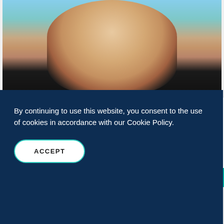[Figure (photo): Partial photo of a smiling older woman with square earrings wearing a black top, against a teal/blue background. A teal bar is visible at the bottom of the photo area.]
Stay Kind Conversation with Petrea King
In our efforts to discover the best research on the art and science of kindness, Stay Kind's Jane Hutcheon spoke with the CEO and Founder of the Quest for Life...
By continuing to use this website, you consent to the use of cookies in accordance with our Cookie Policy.
ACCEPT